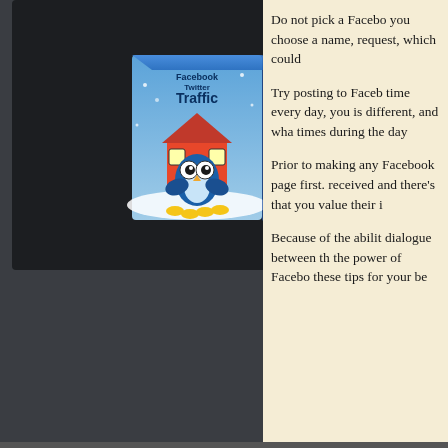[Figure (illustration): Product box image showing 'Traffic' book/software with a cartoon blue owl and house on a snowy background]
Do not pick a Facebook name and then decide you want to change it. When you choose a name, Facebook will not allow you to make a name change request, which could be problematic.
Try posting to Facebook at different times during the day. If you post at the same time every day, you may not know if there's a better time to get engagement. Every audience is different, and what works for one may not work for another. Try posting multiple times during the day to see when your audience is most active.
Prior to making any big changes to your company, run your ideas by your Facebook page first. It's important that your Facebook followers are made aware of what's being received and there's a reason you should value their input. It also shows your audience that you value their input.
Because of the ability of different groups to share your content quickly, Facebook can create a dialogue between the company and the fans. Take advantage of this situation. Remember the power of Facebook can provide for business, and use the strategies that have been outlined here and these tips for your benefit.
You must be logged in to